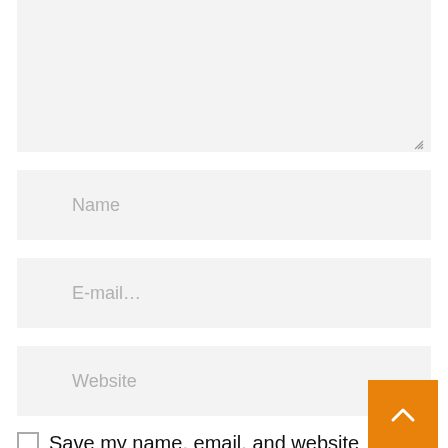[Figure (screenshot): A large text area input field with light gray background and a resize handle in the bottom-right corner.]
Name
E-mail...
Website
Save my name, email, and website in this browser for the next time I